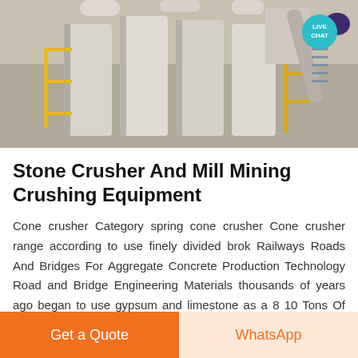[Figure (photo): Aerial/overhead view of industrial stone crusher and mill mining equipment facility with conveyor belts, yellow safety railings, pipes, and machinery. Live Chat badge visible in top-right corner.]
Stone Crusher And Mill Mining Crushing Equipment
Cone crusher Category spring cone crusher Cone crusher range according to use finely divided brok Railways Roads And Bridges For Aggregate Concrete Production Technology Road and Bridge Engineering Materials thousands of years ago began to use gypsum and limestone as a 8 10 Tons Of Heavy Calcium Powder 325 M...